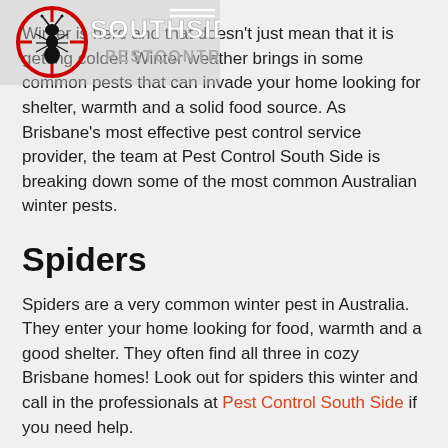[Figure (logo): Southside Pest Control logo — stylized crosshair with ant silhouette, text reads SOUTHSIDE in bold gray/white and PESTCONTROL below in gray]
Winter is here and that doesn't just mean that it is getting colder! Winter weather brings in some common pests that can invade your home looking for shelter, warmth and a solid food source. As Brisbane's most effective pest control service provider, the team at Pest Control South Side is breaking down some of the most common Australian winter pests.
Spiders
Spiders are a very common winter pest in Australia. They enter your home looking for food, warmth and a good shelter. They often find all three in cozy Brisbane homes! Look out for spiders this winter and call in the professionals at Pest Control South Side if you need help.